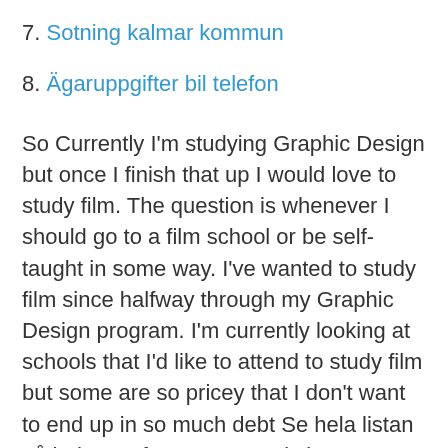7. Sotning kalmar kommun
8. Ägaruppgifter bil telefon
So Currently I'm studying Graphic Design but once I finish that up I would love to study film. The question is whenever I should go to a film school or be self-taught in some way. I've wanted to study film since halfway through my Graphic Design program. I'm currently looking at schools that I'd like to attend to study film but some are so pricey that I don't want to end up in so much debt Se hela listan på iod.com If you've recently become a member of a board or are looking to continue your professional development, these are the core skills that everyone needs to be a successful modern director... Praveen Kumar | New Delhi, Delhi, India |